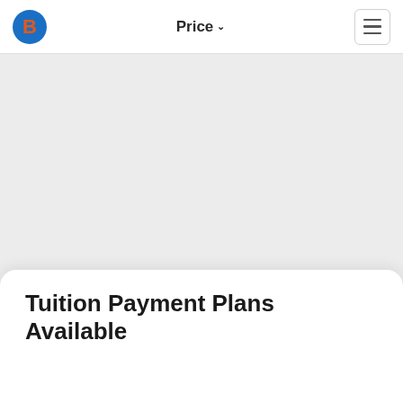Price
Tuition Payment Plans Available